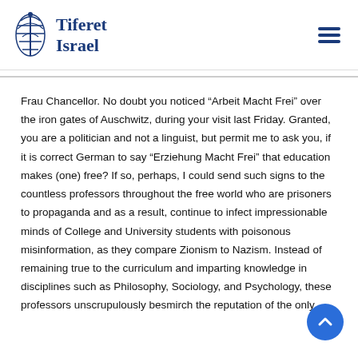Tiferet Israel
Frau Chancellor. No doubt you noticed “Arbeit Macht Frei” over the iron gates of Auschwitz, during your visit last Friday. Granted, you are a politician and not a linguist, but permit me to ask you, if it is correct German to say “Erziehung Macht Frei” that education makes (one) free? If so, perhaps, I could send such signs to the countless professors throughout the free world who are prisoners to propaganda and as a result, continue to infect impressionable minds of College and University students with poisonous misinformation, as they compare Zionism to Nazism. Instead of remaining true to the curriculum and imparting knowledge in disciplines such as Philosophy, Sociology, and Psychology, these professors unscrupulously besmirch the reputation of the only